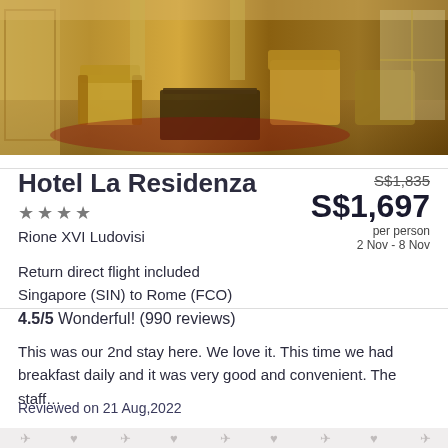[Figure (photo): Interior of Hotel La Residenza showing a luxurious lobby or lounge area with golden/mustard yellow armchairs, a dark wood coffee table, and ornate decor in warm tones.]
Hotel La Residenza
★★★★
Rione XVI Ludovisi
S$1,835 (strikethrough) S$1,697 per person 2 Nov - 8 Nov
Return direct flight included
Singapore (SIN) to Rome (FCO)
4.5/5 Wonderful! (990 reviews)
This was our 2nd stay here. We love it. This time we had breakfast daily and it was very good and convenient. The staff…
Reviewed on 21 Aug,2022
[Figure (map): Map section with light background and repeated travel/location icons in grey watermark style]